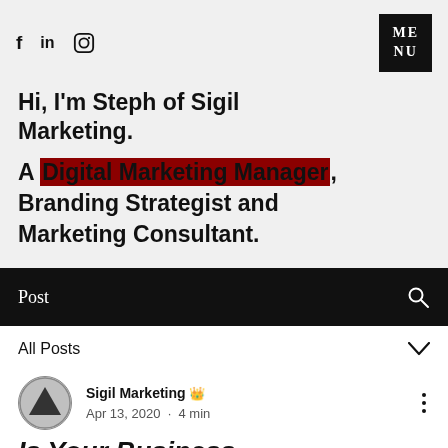f  in  [instagram icon]  |  MENU
Hi, I'm Steph of Sigil Marketing.
A Digital Marketing Manager, Branding Strategist and Marketing Consultant.
Post
All Posts
Sigil Marketing [crown] Apr 13, 2020 · 4 min
Is Your Business